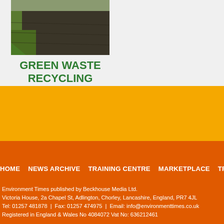[Figure (photo): Aerial or ground-level photo of a dark mulch/green waste recycling area with green grass edges]
GREEN WASTE RECYCLING
HOME   NEWS ARCHIVE   TRAINING CENTRE   MARKETPLACE   TRADE SHOWS

Environment Times published by Beckhouse Media Ltd.
Victoria House, 2a Chapel St, Adlington, Chorley, Lancashire, England, PR7 4JL
Tel: 01257 481878  |  Fax: 01257 474975  |  Email: info@environmenttimes.co.uk
Registered in England & Wales No 4084072 Vat No: 636212461